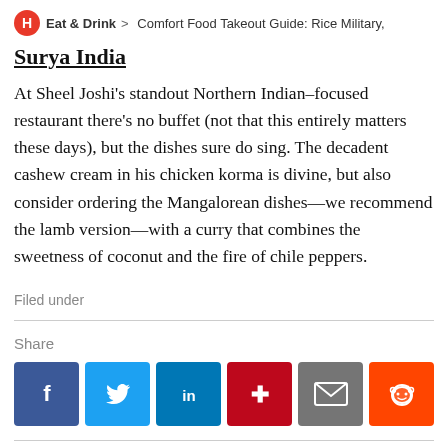H > Eat & Drink > Comfort Food Takeout Guide: Rice Military
Surya India
At Sheel Joshi's standout Northern Indian–focused restaurant there's no buffet (not that this entirely matters these days), but the dishes sure do sing. The decadent cashew cream in his chicken korma is divine, but also consider ordering the Mangalorean dishes—we recommend the lamb version—with a curry that combines the sweetness of coconut and the fire of chile peppers.
Filed under
Share
[Figure (other): Social share buttons: Facebook, Twitter, LinkedIn, Pinterest, Email, Reddit]
Show Comments